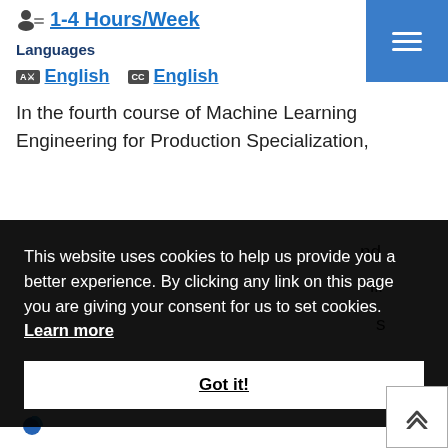1-4 Hours/Week
Languages
English   English
In the fourth course of Machine Learning Engineering for Production Specialization,
This website uses cookies to help us provide you a better experience. By clicking any link on this page you are giving your consent for us to set cookies. Learn more
Got it!